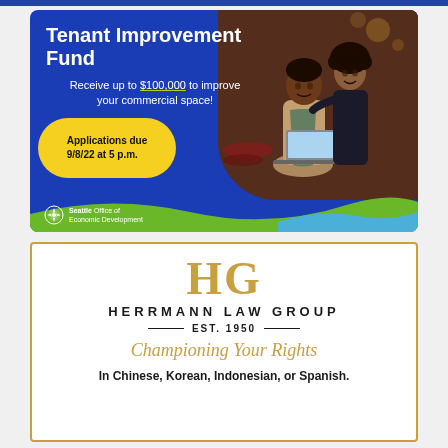[Figure (infographic): Seattle Office of Economic Development advertisement for Tenant Improvement Fund. Blue background with white bold title 'Tenant Improvement Fund', subtitle 'Receive up to $100,000 to improve your commercial space!', yellow bubble with 'Applications due 9/8/22 at 5 p.m.', photo of two people (man and woman) looking at a laptop in a restaurant, green and blue wave design at bottom, Seattle Office of Economic Development logo.]
[Figure (infographic): Herrmann Law Group advertisement. Gold border, gold 'HG' monogram logo, text 'HERRMANN LAW GROUP' with 'EST. 1950' and tagline 'Championing Your Rights' in gold italic, 'In Chinese, Korean, Indonesian, or Spanish.' in bold.]